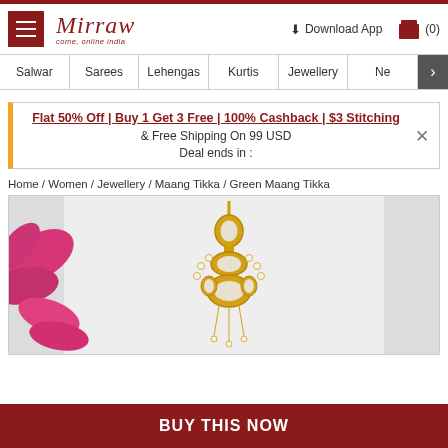Mirraw — come, online india | Download App | (0)
Salwar | Sarees | Lehengas | Kurtis | Jewellery | Ne >
Flat 50% Off | Buy 1 Get 3 Free | 100% Cashback | $3 Stitching & Free Shipping On 99 USD
Deal ends in :
Home / Women / Jewellery / Maang Tikka / Green Maang Tikka
[Figure (photo): Gold and white kundan Maang Tikka jewelry piece photographed against a light grey background with pink flower petals visible at left]
BUY THIS NOW